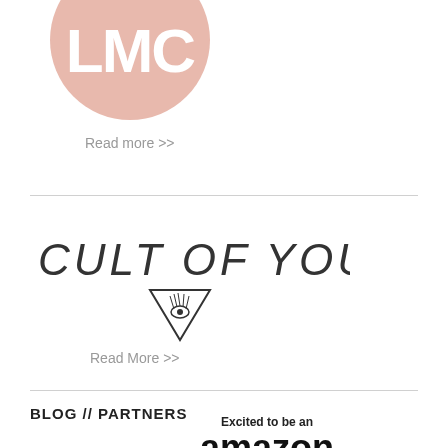[Figure (logo): LMC logo — pink/salmon circle with large white bold letters 'LMC' inside]
Read more >>
[Figure (logo): Cult of Youth logo — hand-drawn text 'CULT OF YOUTH' with a triangle eye (All-Seeing Eye / illuminati triangle) beneath it]
Read More >>
BLOG // PARTNERS
[Figure (logo): Amazon Influencer logo — text 'Excited to be an' above large bold 'amazon' with orange smile arrow, and bold 'Influencer' below]